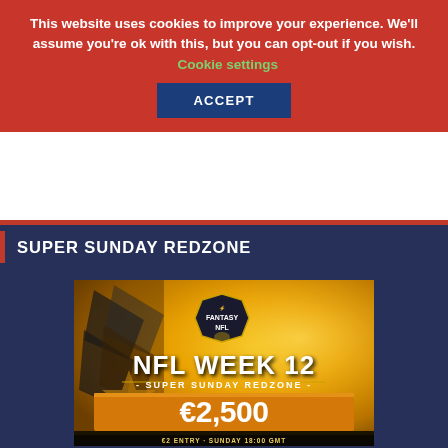This website uses cookies to improve your experience. We'll assume you're ok with this, but you can opt-out if you wish. Cookie settings
ACCEPT
SUPER SUNDAY REDZONE
[Figure (illustration): Promotional banner for Fantasy NFL Week 12 Super Sunday Redzone contest. Shows NFL team logo art in golden/orange tones with text: FANTASY NFL, NFL WEEK 12, SUPER SUNDAY REDZONE, €2,500 GUARANTEED PRIZEPOOL, €2 ENTRY · SUNDAY 18:00 GMT]